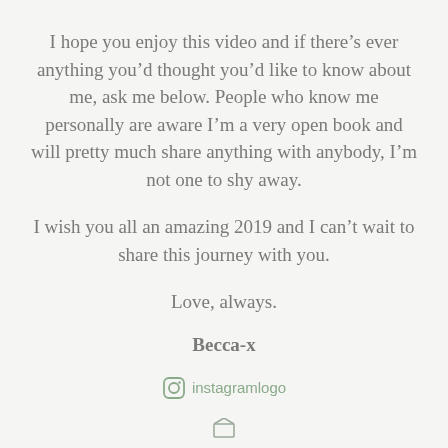I hope you enjoy this video and if there’s ever anything you’d thought you’d like to know about me, ask me below. People who know me personally are aware I’m a very open book and will pretty much share anything with anybody, I’m not one to shy away.
I wish you all an amazing 2019 and I can’t wait to share this journey with you.
Love, always.
Becca-x
[Figure (logo): Instagram logo icon with text 'instagramlogo']
[Figure (logo): Small icon at bottom of page]